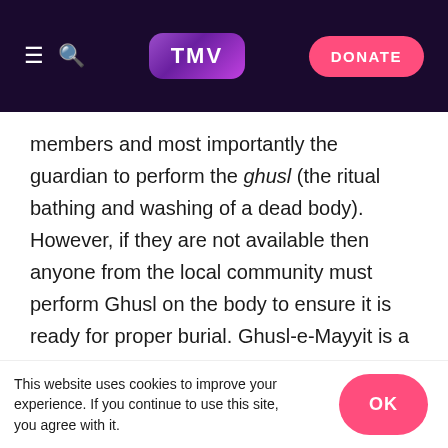TMV — navigation bar with hamburger menu, search icon, TMV logo, and DONATE button
members and most importantly the guardian to perform the ghusl (the ritual bathing and washing of a dead body). However, if they are not available then anyone from the local community must perform Ghusl on the body to ensure it is ready for proper burial. Ghusl-e-Mayyit is a communal obligation and if no one from the community performs Ghusl for the deceased, then it is as if the whole community has sinned.

As a young girl, I had never come across this process; I was fortunate enough to not experience the death of a close family member. In fact, I had probably only been
This website uses cookies to improve your experience. If you continue to use this site, you agree with it.